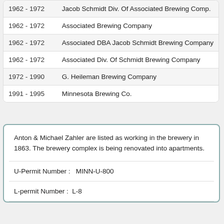| Years | Name |
| --- | --- |
| 1962 - 1972 | Jacob Schmidt Div. Of Associated Brewing Comp. |
| 1962 - 1972 | Associated Brewing Company |
| 1962 - 1972 | Associated DBA Jacob Schmidt Brewing Company |
| 1962 - 1972 | Associated Div. Of Schmidt Brewing Company |
| 1972 - 1990 | G. Heileman Brewing Company |
| 1991 - 1995 | Minnesota Brewing Co. |
Anton & Michael Zahler are listed as working in the brewery in 1863. The brewery complex is being renovated into apartments.
U-Permit Number :   MINN-U-800
L-permit Number :  L-8